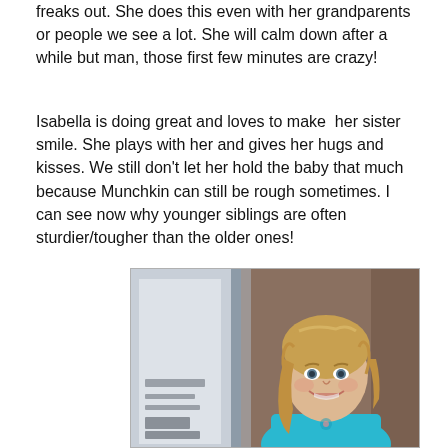freaks out. She does this even with her grandparents or people we see a lot. She will calm down after a while but man, those first few minutes are crazy!
Isabella is doing great and loves to make her sister smile. She plays with her and gives her hugs and kisses. We still don't let her hold the baby that much because Munchkin can still be rough sometimes. I can see now why younger siblings are often sturdier/tougher than the older ones!
[Figure (photo): A young blonde girl smiling at the camera, wearing a turquoise/blue top. She is standing near a window with a wooden door/wall visible on the right side.]